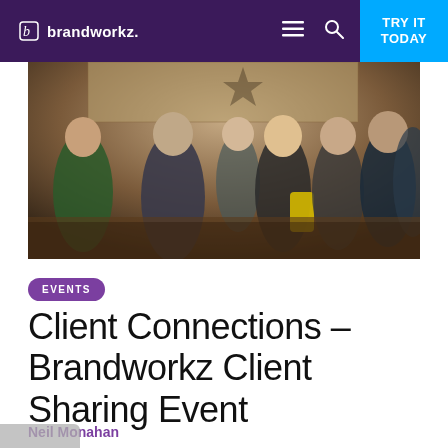brandworkz. | TRY IT TODAY
[Figure (photo): A group of people networking at an indoor client event, in a room with ornate decor. People are standing and conversing; one person holds a glass, another carries a yellow bag.]
EVENTS
Client Connections – Brandworkz Client Sharing Event
Neil Monahan